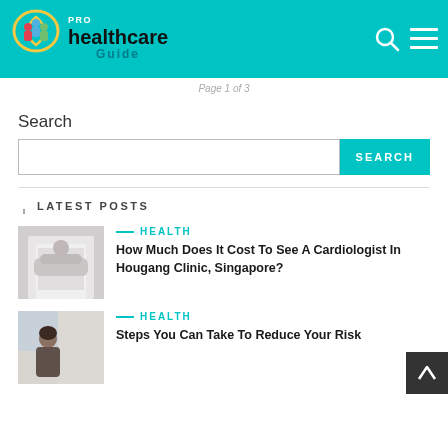PRO healthcare Guide
Page 1 of 3
Search
SEARCH
LATEST POSTS
HEALTH
How Much Does It Cost To See A Cardiologist In Hougang Clinic, Singapore?
[Figure (photo): Doctor in white coat with arms crossed]
HEALTH
Steps You Can Take To Reduce Your Risk
[Figure (photo): Woman at desk looking at screen]